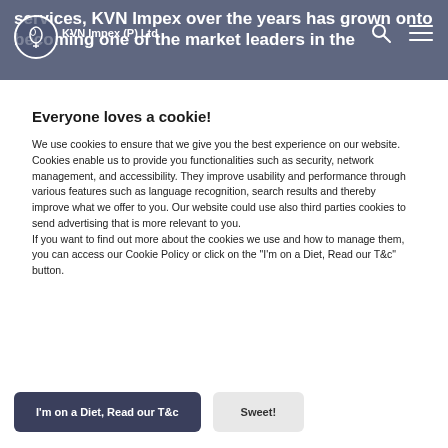services, KVN Impex over the years has grown onto becoming one of the market leaders in the
Everyone loves a cookie!
We use cookies to ensure that we give you the best experience on our website. Cookies enable us to provide you functionalities such as security, network management, and accessibility. They improve usability and performance through various features such as language recognition, search results and thereby improve what we offer to you. Our website could use also third parties cookies to send advertising that is more relevant to you.
If you want to find out more about the cookies we use and how to manage them, you can access our Cookie Policy or click on the "I'm on a Diet, Read our T&c" button.
I'm on a Diet, Read our T&c
Sweet!